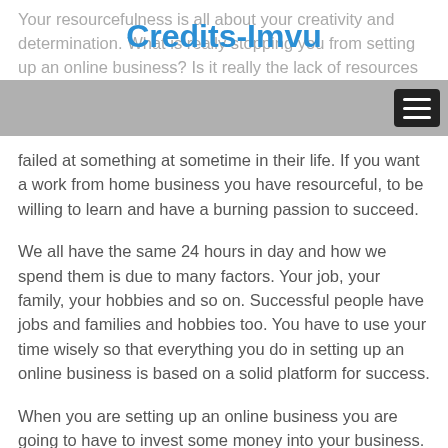Credits-Imvu
Your resourcefulness is all about your creativity and determination. What is really stopping you from setting up an online business? Is it really the lack of resources or the fear of stepping into the unknown and failing? Many great entrepreneurs have failed at something at sometime in their life. If you want a work from home business you have resourceful, to be willing to learn and have a burning passion to succeed.
We all have the same 24 hours in day and how we spend them is due to many factors. Your job, your family, your hobbies and so on. Successful people have jobs and families and hobbies too. You have to use your time wisely so that everything you do in setting up an online business is based on a solid platform for success.
When you are setting up an online business you are going to have to invest some money into your business. Remember, that it is a business and not a hobby. Some people think that you can make millions online by doing